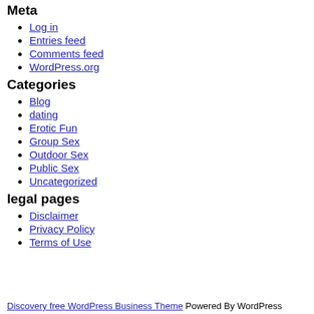Meta
Log in
Entries feed
Comments feed
WordPress.org
Categories
Blog
dating
Erotic Fun
Group Sex
Outdoor Sex
Public Sex
Uncategorized
legal pages
Disclaimer
Privacy Policy
Terms of Use
Discovery free WordPress Business Theme Powered By WordPress